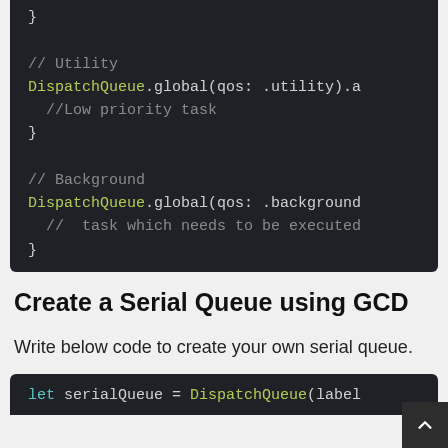[Figure (screenshot): Code block showing Swift DispatchQueue utility and background QoS examples with syntax highlighting on dark background]
Create a Serial Queue using GCD
Write below code to create your own serial queue.
[Figure (screenshot): Code block showing Swift let serialQueue = DispatchQueue(label syntax highlighted on dark background]